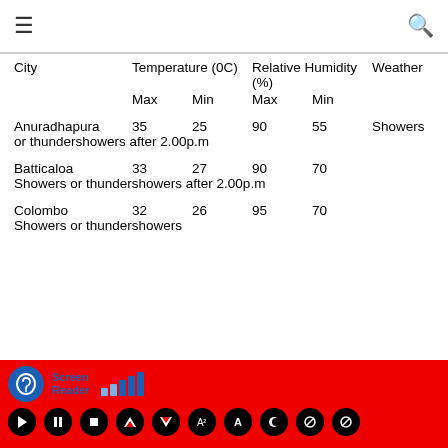≡  🔍
| City | Temperature (0C) |  | Relative Humidity (%) |  | Weather |
| --- | --- | --- | --- | --- | --- |
|  | Max | Min | Max | Min |  |
| Anuradhapura | 35 | 25 | 90 | 55 | Showers or thundershowers after 2.00p.m |
| Batticaloa | 33 | 27 | 90 | 70 | Showers or thundershowers after 2.00p.m |
| Colombo | 32 | 26 | 95 | 70 | Showers or thundershowers |
[Figure (screenshot): Screen Reader accessibility toolbar with ear icon, signal bars, and playback control buttons on red background]